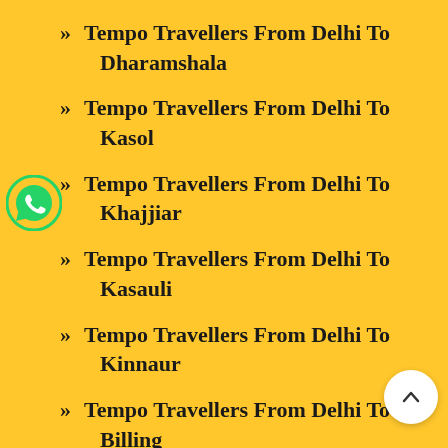» Tempo Travellers From Delhi To Dharamshala
» Tempo Travellers From Delhi To Kasol
» Tempo Travellers From Delhi To Khajjiar
» Tempo Travellers From Delhi To Kasauli
» Tempo Travellers From Delhi To Kinnaur
» Tempo Travellers From Delhi To Bir Billing
» Tempo Travellers From Delhi To Kufri